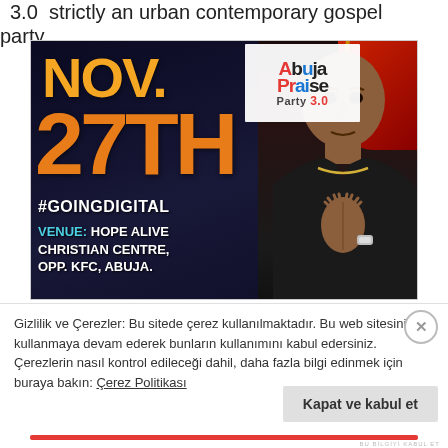3.0  strictly an urban contemporary gospel party.
[Figure (photo): Event flyer for Abuja Praise Party 3.0. Shows NOV. 27TH #GOINGDIGITAL in large orange/yellow text on dark background. Venue: Hope Alive Christian Centre, Opp. KFC, Abuja. Abuja Praise Party 3.0 logo top center. A man in black t-shirt with hands pressed together in prayer pose on the right side.]
Gizlilik ve Çerezler: Bu sitede çerez kullanılmaktadır. Bu web sitesini kullanmaya devam ederek bunların kullanımını kabul edersiniz. Çerezlerin nasıl kontrol edileceği dahil, daha fazla bilgi edinmek için buraya bakın: Çerez Politikası
Kapat ve kabul et